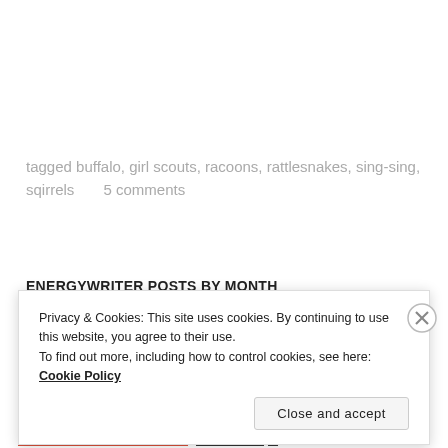tagged buffalo, girl scouts, racoons, rattlesnakes, sing-sing, sqirrels      5 comments
ENERGYWRITER POSTS BY MONTH
Privacy & Cookies: This site uses cookies. By continuing to use this website, you agree to their use.
To find out more, including how to control cookies, see here: Cookie Policy
Close and accept